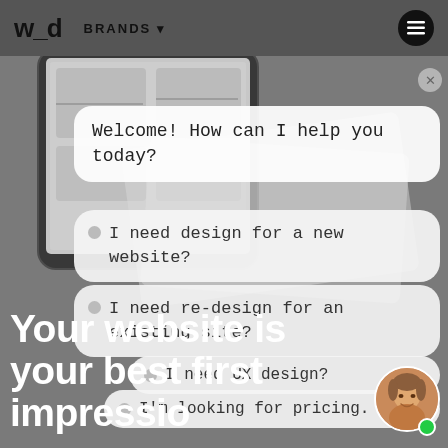[Figure (screenshot): Website/app UI screenshot showing a navigation bar with 'w_d' logo and BRANDS menu, a tablet device mockup, and a chatbot conversation interface with multiple chat bubbles. Chat messages include: 'Welcome! How can I help you today?', 'I need design for a new website?', 'I need re-design for an existing site?', 'I need UX design?', 'I'm looking for pricing.' A woman's avatar with a green online indicator is shown at bottom right.]
Your website is your best first impression